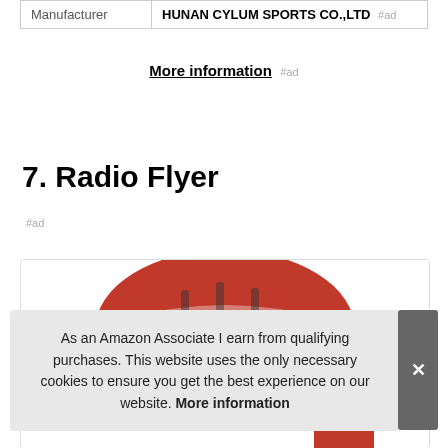| Manufacturer | HUNAN CYLUM SPORTS CO.,LTD #ad |
| --- | --- |
More information #ad
7. Radio Flyer
#ad
[Figure (photo): Red and white bicycle helmet product image partially visible]
As an Amazon Associate I earn from qualifying purchases. This website uses the only necessary cookies to ensure you get the best experience on our website. More information